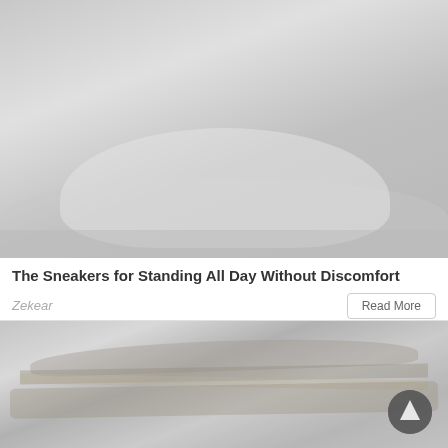[Figure (photo): Close-up photo of white perforated sneakers/clogs on a dark surface, muted/faded appearance]
The Sneakers for Standing All Day Without Discomfort
Zekear
Read More
[Figure (photo): Close-up photo of a burger wrapped in plastic/foil packaging, muted/faded appearance]